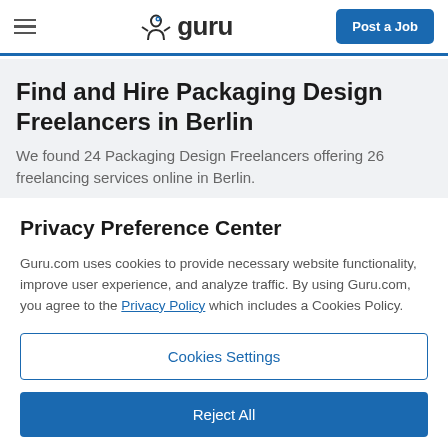Guru — Post a Job
Find and Hire Packaging Design Freelancers in Berlin
We found 24 Packaging Design Freelancers offering 26 freelancing services online in Berlin.
Privacy Preference Center
Guru.com uses cookies to provide necessary website functionality, improve user experience, and analyze traffic. By using Guru.com, you agree to the Privacy Policy which includes a Cookies Policy.
Cookies Settings
Reject All